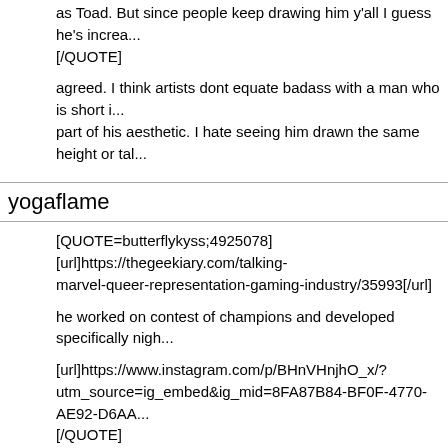as Toad. But since people keep drawing him y'all I guess he's increa... [/QUOTE]
agreed. I think artists dont equate badass with a man who is short i... part of his aesthetic. I hate seeing him drawn the same height or tal...
yogaflame
[QUOTE=butterflykyss;4925078][url]https://thegeekiary.com/talking-... marvel-queer-representation-gaming-industry/35993[/url]
he worked on contest of champions and developed specifically nigh...
[url]https://www.instagram.com/p/BHnVHnjhO_x/?
utm_source=ig_embed&ig_mid=8FA87B84-BF0F-4770-AE92-D6AA...
[/QUOTE]
Nice detective work. It looks like he got that gig the old fashioned wa... directly as a result of the incident.
butterflykyss
[QUOTE=yogaflame;4925126]Nice detective work. It looks like he...